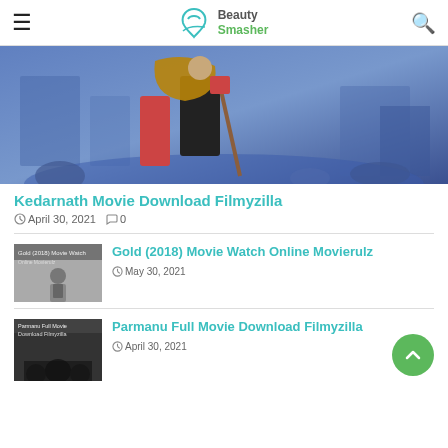Beauty Smasher
[Figure (illustration): Painting-style illustration of a person carrying a large wicker basket on their back with a walking stick, set against a blue background with crowd and mountains]
Kedarnath Movie Download Filmyzilla
April 30, 2021  0
[Figure (photo): Thumbnail for Gold (2018) movie article showing a man in a suit]
Gold (2018) Movie Watch Online Movierulz
May 30, 2021
[Figure (photo): Thumbnail for Parmanu Full Movie Download Filmyzilla showing dark poster with silhouettes]
Parmanu Full Movie Download Filmyzilla
April 30, 2021